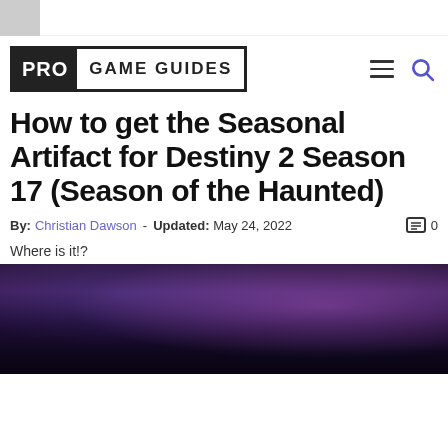Pro Game Guides
How to get the Seasonal Artifact for Destiny 2 Season 17 (Season of the Haunted)
By: Christian Dawson - Updated: May 24, 2022
Where is it!?
[Figure (photo): Dark stylized game screenshot with purple/violet atmospheric lighting, likely from Destiny 2]